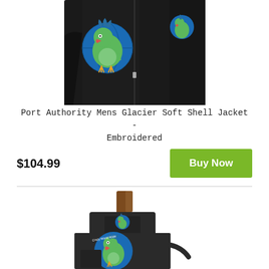[Figure (photo): Black Port Authority Mens Glacier Soft Shell Jacket with embroidered colorful parrot/globe logo on front left chest and large parrot logo on back, shown on mannequin]
Port Authority Mens Glacier Soft Shell Jacket - Embroidered
$104.99
Buy Now
[Figure (photo): Black apron with brown leather strap at top, featuring colorful parrot/globe embroidered logo on chest pocket, laid flat showing full apron front with Crazy World Wide branding]